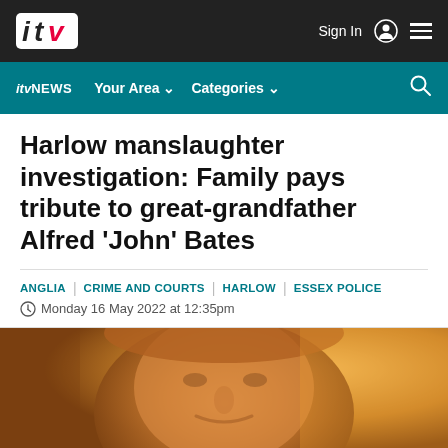ITV - Sign In [navigation bar]
ITV NEWS - Your Area - Categories - Search
Harlow manslaughter investigation: Family pays tribute to great-grandfather Alfred 'John' Bates
ANGLIA | CRIME AND COURTS | HARLOW | ESSEX POLICE
Monday 16 May 2022 at 12:35pm
[Figure (photo): Close-up photo of an elderly man with a warm expression, orange/amber tones, appears to be Alfred 'John' Bates]